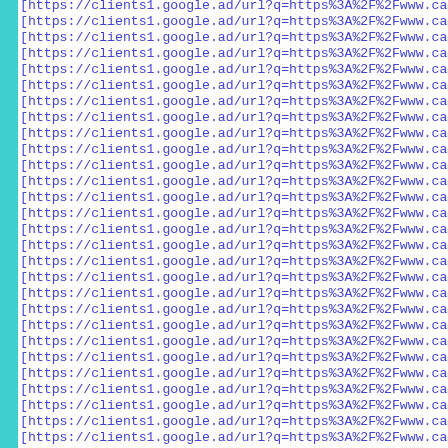[https://clients1.google.ad/url?q=https%3A%2F%2Fwww.casinop (repeated ~28 times)